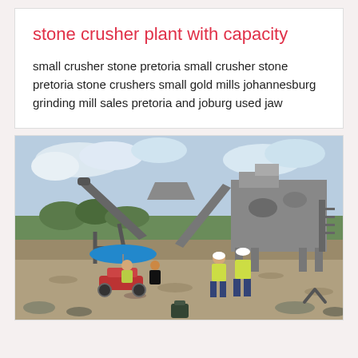stone crusher plant with capacity
small crusher stone pretoria small crusher stone pretoria stone crushers small gold mills johannesburg grinding mill sales pretoria and joburg used jaw
[Figure (photo): Outdoor stone crusher plant with conveyor belts and heavy machinery. Several workers in yellow safety vests and white hard hats are visible in the foreground. A motorcycle and a blue umbrella are also present. Rocky/gravelly ground surrounds the equipment under a partly cloudy sky.]